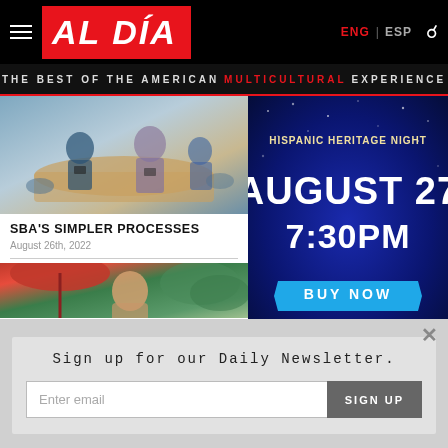AL DÍA — ENG | ESP
THE BEST OF THE AMERICAN MULTICULTURAL EXPERIENCE
[Figure (photo): People standing around a table with phones, blurred background]
SBA'S SIMPLER PROCESSES
August 26th, 2022
[Figure (photo): Partial view of woman outdoors with red umbrella]
[Figure (illustration): Hispanic Heritage Night advertisement — August 27, 7:30PM, Buy Now]
Sign up for our Daily Newsletter.